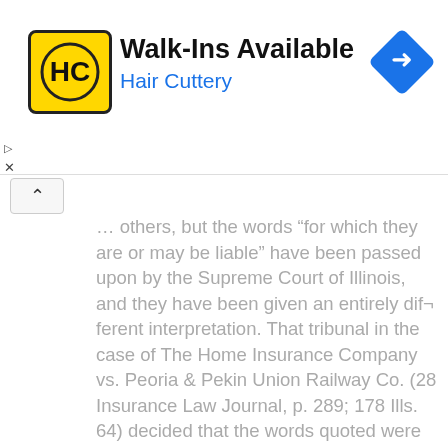[Figure (other): Hair Cuttery advertisement banner with logo, 'Walk-Ins Available' headline, and navigation icon]
others, but the words “for which they are or may be liable” have been passed upon by the Supreme Court of Illinois, and they have been given an entirely dif¬ ferent interpretation. That tribunal in the case of The Home Insurance Company vs. Peoria & Pekin Union Railway Co. (28 Insurance Law Journal, p. 289; 178 Ills. 64) decided that the words quoted were merely descriptive of the cars to be insured; that the word “liable” as used in the policy did not signify a perfected or fixed legal liability, but rather a con¬ dition out of which a legal liability might arise.
As illustrative of its position the court said that an assignor of a negotiable note may, with no insurance, for such he might be liable, and his